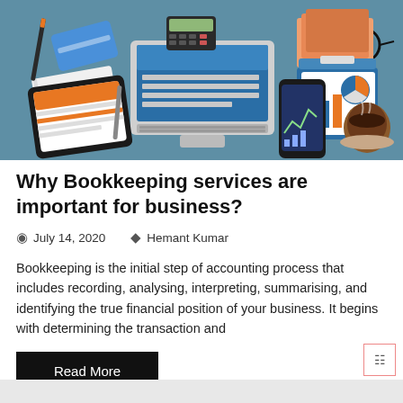[Figure (illustration): Flat-style illustration of a desk workspace with a laptop, tablet showing a webpage, calculator, smartphone with a chart, credit card, glasses, notebook, pen, clipboard with charts, and a cup of coffee on a teal/blue surface, viewed from above.]
Why Bookkeeping services are important for business?
July 14, 2020   Hemant Kumar
Bookkeeping is the initial step of accounting process that includes recording, analysing, interpreting, summarising, and identifying the true financial position of your business. It begins with determining the transaction and
Read More